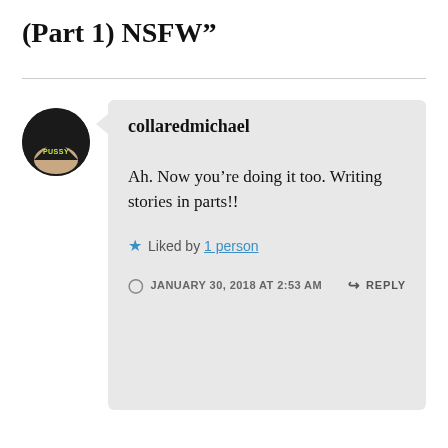(Part 1) NSFW”
collaredmichael
Ah. Now you’re doing it too. Writing stories in parts!!
★ Liked by 1 person
JANUARY 30, 2018 AT 2:53 AM  REPLY